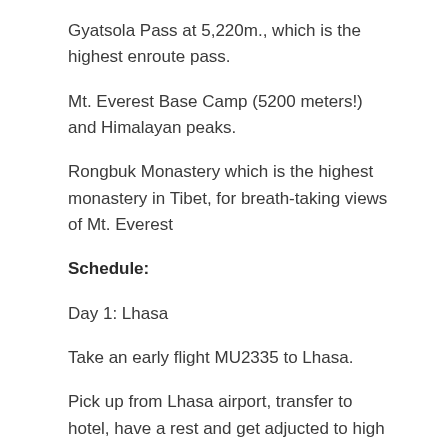Gyatsola Pass at 5,220m., which is the highest enroute pass.
Mt. Everest Base Camp (5200 meters!) and Himalayan peaks.
Rongbuk Monastery which is the highest monastery in Tibet, for breath-taking views of Mt. Everest
Schedule:
Day 1: Lhasa
Take an early flight MU2335 to Lhasa.
Pick up from Lhasa airport, transfer to hotel, have a rest and get adjucted to high altitude. Stay in 3-Star Hotel (Yak Hotel or New Mandala Hotel)
Day 2: Lhasa
After you take lunch and then head to Jokhang